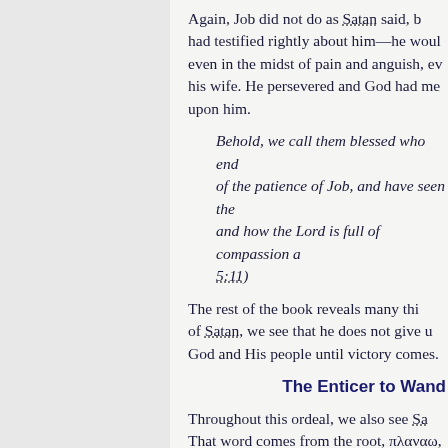Again, Job did not do as Satan said, b[ut God] had testified rightly about him—he woul[d remain faithful] even in the midst of pain and anguish, ev[en against] his wife. He persevered and God had mer[cy] upon him.
Behold, we call them blessed who endu[red,] of the patience of Job, and have seen the [end of the Lord;] and how the Lord is full of compassion a[nd mercy. (James] 5:11)
The rest of the book reveals many thir[gs.] of Satan, we see that he does not give up God and His people until victory comes.
The Enticer to Wande[r]
Throughout this ordeal, we also see Sa[tan as the Enticer.] That word comes from the root, πλαναω, [which means to lead] astray, to wander, to roam about." As me[ntioned earlier, this] is where we get our English word "plane[t" — a body traveling] through the sky, opposed to stars which s[tay fixed in place.] Satan tries to draw Job away from God t[hrough the taking] of him and his family and possessions. H[e tests him.]